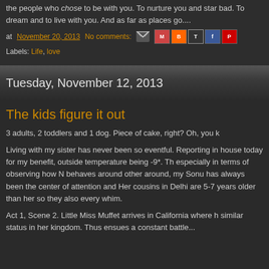the people who chose to be with you. To nurture you and star bad. To dream and to live with you. And as far as places go....
at November 20, 2013   No comments:
Labels: Life, love
Tuesday, November 12, 2013
The kids figure it out
3 adults, 2 toddlers and 1 dog. Piece of cake, right? Oh, you k
Living with my sister has never been so eventful. Reporting in house today for my benefit, outside temperature being -9*. Th especially in terms of observing how N behaves around other around, my Sonu has always been the center of attention and Her cousins in Delhi are 5-7 years older than her so they also every whim.
Act 1, Scene 2. Little Miss Muffet arrives in California where h similar status in her kingdom. Thus ensues a constant battle...